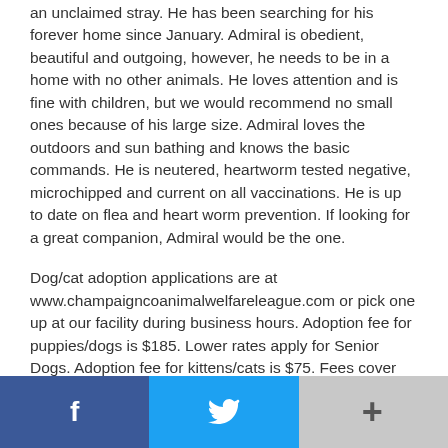an unclaimed stray. He has been searching for his forever home since January. Admiral is obedient, beautiful and outgoing, however, he needs to be in a home with no other animals. He loves attention and is fine with children, but we would recommend no small ones because of his large size. Admiral loves the outdoors and sun bathing and knows the basic commands. He is neutered, heartworm tested negative, microchipped and current on all vaccinations. He is up to date on flea and heart worm prevention. If looking for a great companion, Admiral would be the one.
Dog/cat adoption applications are at www.champaigncoanimalwelfareleague.com or pick one up at our facility during business hours. Adoption fee for puppies/dogs is $185. Lower rates apply for Senior Dogs. Adoption fee for kittens/cats is $75. Fees cover spay/neuter, Da2PPL, Bivalent Flu, Bordetella, rabies, worming, heartworm test, flea and heartworm prevention, microchip. Pets are groomed and receive dental cleaning with any
[Figure (infographic): Social sharing bar with Facebook (blue), Twitter (cyan), and More (+) (gray) buttons]